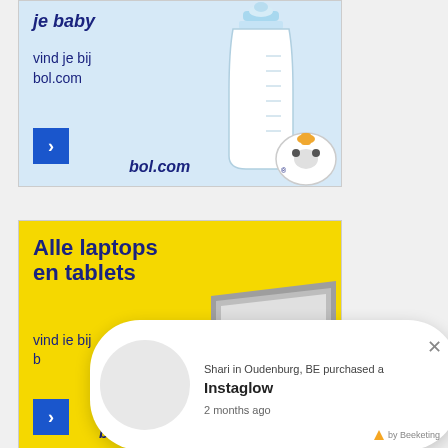[Figure (illustration): bol.com baby advertisement banner with light blue background, showing a baby bottle and pacifier, with bold italic Dutch text 'je baby vind je bij bol.com', a blue arrow button, and bol.com logo]
[Figure (illustration): bol.com laptops and tablets advertisement banner with yellow background, showing a tablet device, with bold Dutch text 'Alle laptops en tablets vind je bij b[ol.com]', a blue arrow button, and bol.com logo]
[Figure (other): Beeketing purchase notification popup: 'Shari in Oudenburg, BE purchased a Instaglow 2 months ago' with circular icon area, close X button, and 'by Beeketing' branding]